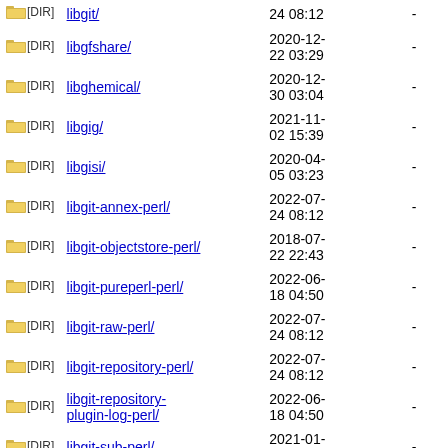|  | Name | Date | Size |
| --- | --- | --- | --- |
| [DIR] | libgit/ | 24 08:12 | - |
| [DIR] | libgfshare/ | 2020-12-22 03:29 | - |
| [DIR] | libghemical/ | 2020-12-30 03:04 | - |
| [DIR] | libgig/ | 2021-11-02 15:39 | - |
| [DIR] | libgisi/ | 2020-04-05 03:23 | - |
| [DIR] | libgit-annex-perl/ | 2022-07-24 08:12 | - |
| [DIR] | libgit-objectstore-perl/ | 2018-07-22 22:43 | - |
| [DIR] | libgit-pureperl-perl/ | 2022-06-18 04:50 | - |
| [DIR] | libgit-raw-perl/ | 2022-07-24 08:12 | - |
| [DIR] | libgit-repository-perl/ | 2022-07-24 08:12 | - |
| [DIR] | libgit-repository-plugin-log-perl/ | 2022-06-18 04:50 | - |
| [DIR] | libgit-sub-perl/ | 2021-01-08 03:22 | - |